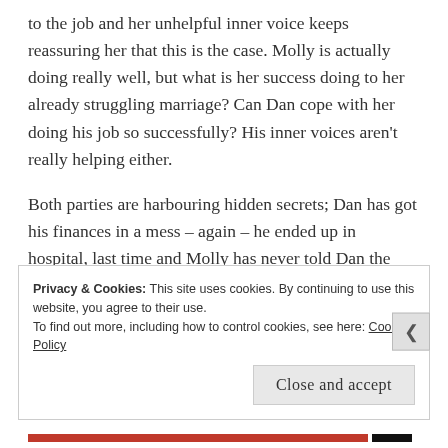to the job and her unhelpful inner voice keeps reassuring her that this is the case. Molly is actually doing really well, but what is her success doing to her already struggling marriage? Can Dan cope with her doing his job so successfully? His inner voices aren't really helping either.
Both parties are harbouring hidden secrets; Dan has got his finances in a mess – again – he ended up in hospital, last time and Molly has never told Dan the truth about the old flame that she has gone to America to interview. How can their relationship
Privacy & Cookies: This site uses cookies. By continuing to use this website, you agree to their use. To find out more, including how to control cookies, see here: Cookie Policy
Close and accept